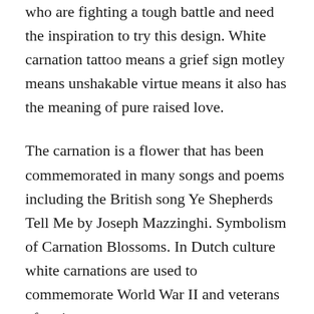who are fighting a tough battle and need the inspiration to try this design. White carnation tattoo means a grief sign motley means unshakable virtue means it also has the meaning of pure raised love.
The carnation is a flower that has been commemorated in many songs and poems including the British song Ye Shepherds Tell Me by Joseph Mazzinghi. Symbolism of Carnation Blossoms. In Dutch culture white carnations are used to commemorate World War II and veterans of various wars.
Purple carnations are linked to impulsiveness